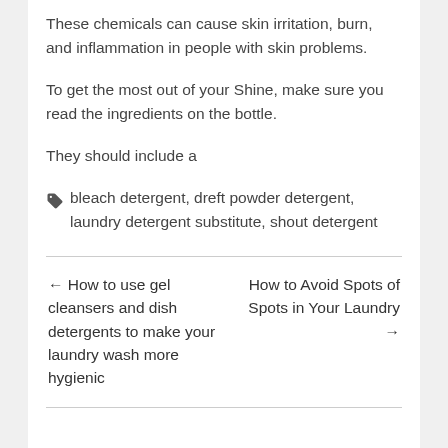These chemicals can cause skin irritation, burn, and inflammation in people with skin problems.
To get the most out of your Shine, make sure you read the ingredients on the bottle.
They should include a
bleach detergent, dreft powder detergent, laundry detergent substitute, shout detergent
← How to use gel cleansers and dish detergents to make your laundry wash more hygienic
How to Avoid Spots of Spots in Your Laundry →